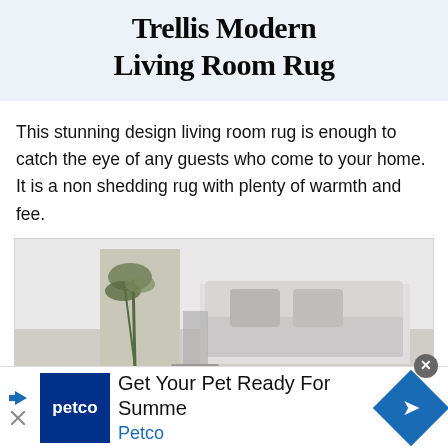Trellis Modern Living Room Rug
This stunning design living room rug is enough to catch the eye of any guests who come to your home. It is a non shedding rug with plenty of warmth and fee.
[Figure (photo): A living room scene showing a white sofa/chair with pillows and a plant, in a light modern interior setting.]
[Figure (other): Advertisement banner for Petco: 'Get Your Pet Ready For Summe' with Petco logo and blue diamond arrow icon.]